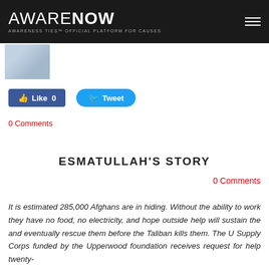AWARENOW — AWARENESS TIES™ OFFICIAL PLATFORM FOR CAUSES
[Figure (photo): Thumbnail image placeholder]
[Figure (screenshot): Facebook Like button showing 0 likes and Twitter Tweet button]
0 Comments
ESMATULLAH'S STORY
0 Comments
It is estimated 285,000 Afghans are in hiding. Without the ability to work they have no food, no electricity, and hope outside help will sustain the and eventually rescue them before the Taliban kills them. The U Supply Corps funded by the Upperwood foundation receives request for help twenty-